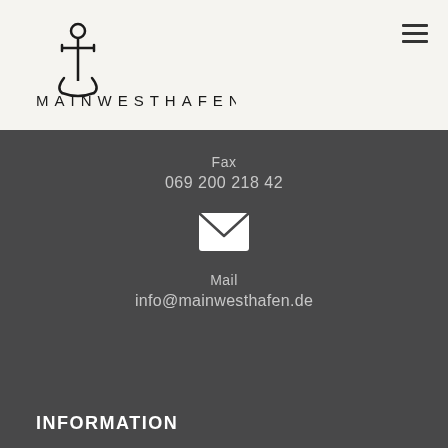[Figure (logo): MAINWESTHAFEN logo with anchor icon above the text]
[Figure (other): Hamburger menu icon (three horizontal lines)]
Fax
069 200 218 42
[Figure (other): Envelope/mail icon in white]
Mail
info@mainwesthafen.de
INFORMATION